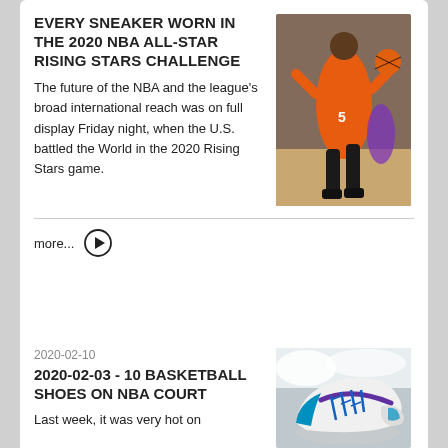EVERY SNEAKER WORN IN THE 2020 NBA ALL-STAR RISING STARS CHALLENGE
The future of the NBA and the league's broad international reach was on full display Friday night, when the U.S. battled the World in the 2020 Rising Stars game.
[Figure (photo): Basketball player in orange uniform dribbling during an NBA Rising Stars game]
more...
2020-02-10
2020-02-03 - 10 BASKETBALL SHOES ON NBA COURT
Last week, it was very hot on
[Figure (photo): White and blue Nike basketball shoe on sandy/snowy surface]